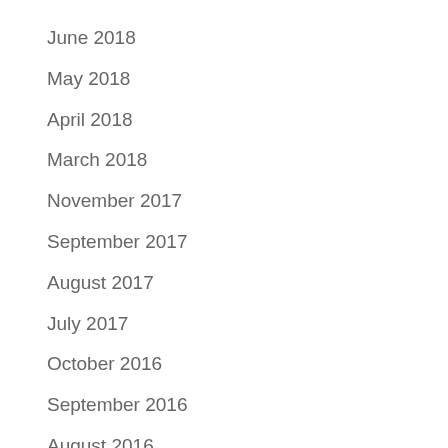June 2018
May 2018
April 2018
March 2018
November 2017
September 2017
August 2017
July 2017
October 2016
September 2016
August 2016
July 2016